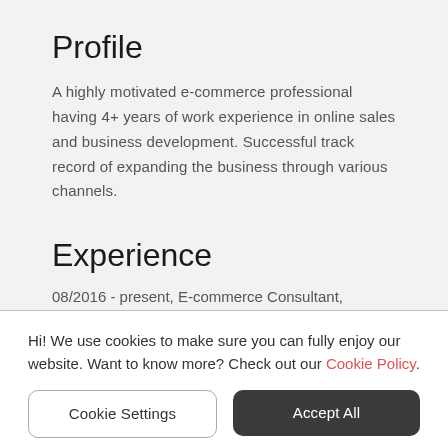Profile
A highly motivated e-commerce professional having 4+ years of work experience in online sales and business development. Successful track record of expanding the business through various channels.
Experience
08/2016 - present, E-commerce Consultant, Freelancer, Dubai, United Arab Emirates
Developed and implemented the customer centric sales plan across both marketplace
Hi! We use cookies to make sure you can fully enjoy our website. Want to know more? Check out our Cookie Policy.
Cookie Settings
Accept All